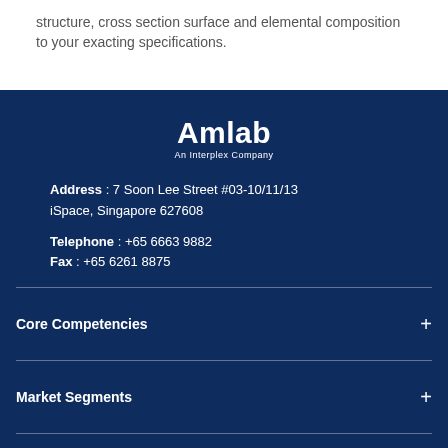structure, cross section surface and elemental composition to your exacting specifications.
[Figure (logo): Amlab - An Interplex Company logo in white text on dark blue background]
Address : 7 Soon Lee Street #03-10/11/13 iSpace, Singapore 627608
Telephone : +65 6663 9882
Fax : +65 6261 8875
Core Competencies
Market Segments